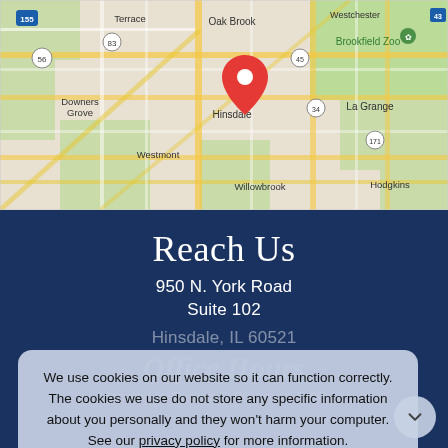[Figure (map): Google Maps screenshot showing Hinsdale, IL area with a red location pin marker. Surrounding areas include Oak Brook, Brookfield Zoo, Downers Grove, Westmont, La Grange, Willowbrook, Hodgkins. Roads and highways visible.]
Reach Us
950 N. York Road
Suite 102
Hinsdale, IL 60521
Office Hours
Monday to Friday: 9:00 am to 5:00 pm
We use cookies on our website so it can function correctly. The cookies we use do not store any specific information about you personally and they won't harm your computer. See our privacy policy for more information.
Accept